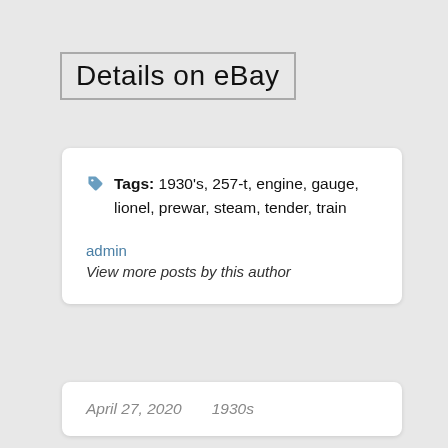Details on eBay
Tags: 1930's, 257-t, engine, gauge, lionel, prewar, steam, tender, train
admin
View more posts by this author
April 27, 2020    1930s